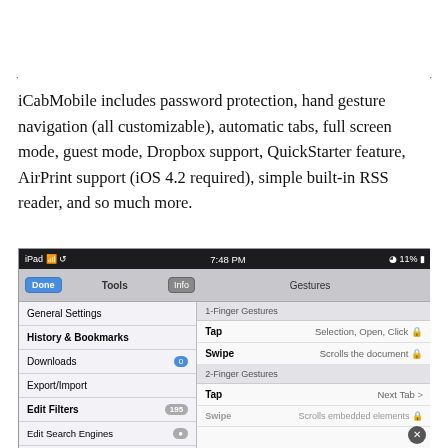iCabMobile includes password protection, hand gesture navigation (all customizable), automatic tabs, full screen mode, guest mode, Dropbox support, QuickStarter feature, AirPrint support (iOS 4.2 required), simple built-in RSS reader, and so much more.
[Figure (screenshot): iPad screenshot showing iCabMobile browser settings with Tools panel on the left (General Settings, History & Bookmarks, Downloads, Export/Import, Edit Filters, Edit Search Engines) and Gestures panel on the right (1-Finger Gestures: Tap=Selection Open Click, Swipe=Scrolls the document; 2-Finger Gestures: Tap=Next Tab, Swipe=Scrolls embedded elements)]